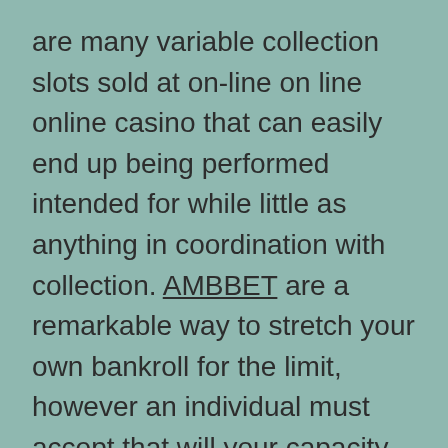are many variable collection slots sold at on-line on line online casino that can easily end up being performed intended for while little as anything in coordination with collection. AMBBET are a remarkable way to stretch your own bankroll for the limit, however an individual must accept that will your capacity wins will be lots more compact seeing that an effect. Even so, you will pro9bably be able to spend a great deal additional time with a particularly small lender roll.

Another element which you ought to take into